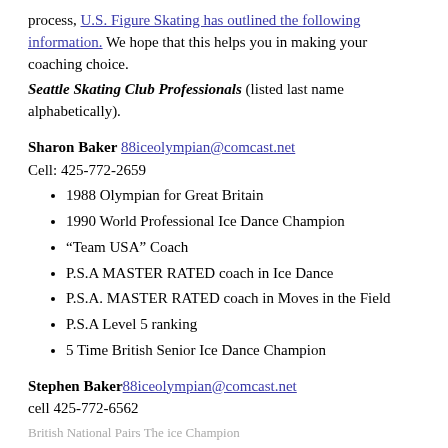process, U.S. Figure Skating has outlined the following information. We hope that this helps you in making your coaching choice.
Seattle Skating Club Professionals (listed last name alphabetically).
Sharon Baker 88iceolympian@comcast.net
Cell: 425-772-2659
1988 Olympian for Great Britain
1990 World Professional Ice Dance Champion
“Team USA” Coach
P.S.A MASTER RATED coach in Ice Dance
P.S.A. MASTER RATED coach in Moves in the Field
P.S.A Level 5 ranking
5 Time British Senior Ice Dance Champion
Stephen Baker 88iceolympian@comcast.net
cell 425-772-6562
British National Pairs The ice Champion